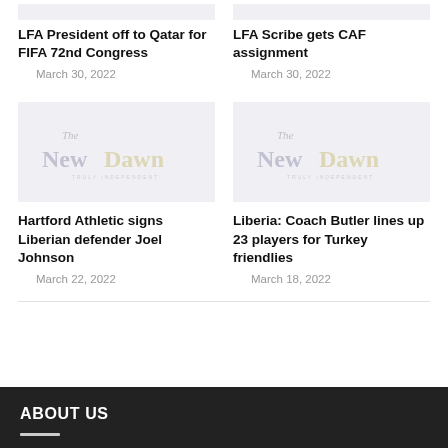LFA President off to Qatar for FIFA 72nd Congress
March 30, 2022
LFA Scribe gets CAF assignment
March 30, 2022
[Figure (logo): The New Dawn newspaper logo - Truly Independent]
[Figure (logo): The New Dawn newspaper logo - Truly Independent]
Hartford Athletic signs Liberian defender Joel Johnson
March 22, 2022
Liberia: Coach Butler lines up 23 players for Turkey friendlies
March 18, 2022
ABOUT US